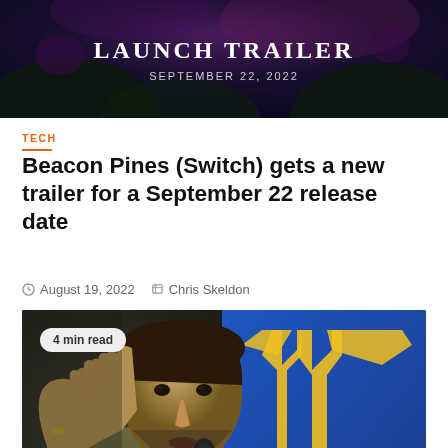[Figure (screenshot): Launch trailer image with dark fantasy background, text reading LAUNCH TRAILER SEPTEMBER 22, 2022]
TECH
Beacon Pines (Switch) gets a new trailer for a September 22 release date
August 19, 2022   Chris Skeldon
[Figure (photo): Photo of a man speaking into a microphone with a Ukrainian flag in the background, badge showing 4 min read]